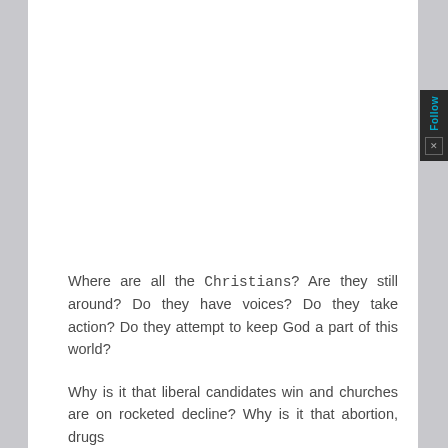Where are all the Christians? Are they still around? Do they have voices? Do they take action? Do they attempt to keep God a part of this world?
Why is it that liberal candidates win and churches are on rocketed decline? Why is it that abortion, drugs